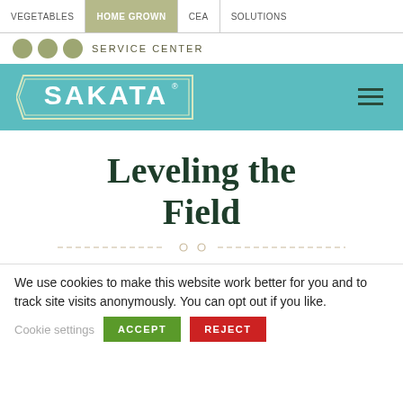VEGETABLES | HOME GROWN | CEA | SOLUTIONS
SERVICE CENTER
[Figure (logo): Sakata logo on teal/turquoise banner with decorative arrow-shaped border]
Leveling the Field
We use cookies to make this website work better for you and to track site visits anonymously. You can opt out if you like.
Cookie settings  ACCEPT  REJECT